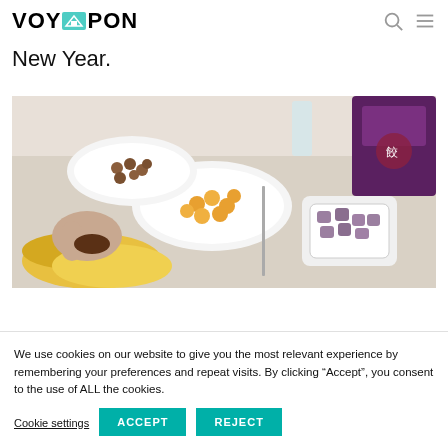VOYAPON
New Year.
[Figure (photo): A table spread with food including bananas, bowls of small round snacks (yellow and purple), a Japanese snack package with red and purple design, and a hand handling the food.]
We use cookies on our website to give you the most relevant experience by remembering your preferences and repeat visits. By clicking “Accept”, you consent to the use of ALL the cookies.
Cookie settings  ACCEPT  REJECT